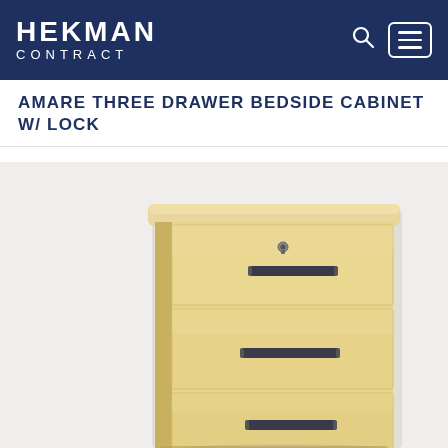HEKMAN CONTRACT
AMARE THREE DRAWER BEDSIDE CABINET W/ LOCK
[Figure (photo): A three-drawer bedside cabinet in a light maple/blonde wood finish with dark metal bar handles on each drawer. The top drawer has a lock keyhole. The cabinet has a flat top with slightly rounded front corners.]